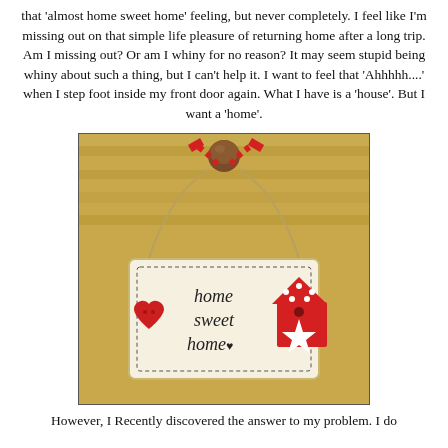that 'almost home sweet home' feeling, but never completely. I feel like I'm missing out on that simple life pleasure of returning home after a long trip. Am I missing out? Or am I whiny for no reason? It may seem stupid being whiny about such a thing, but I can't help it. I want to feel that 'Ahhhhh....' when I step foot inside my front door again. What I have is a 'house'. But I want a 'home'.
[Figure (photo): A decorative 'home sweet home' wooden sign hanging from a wooden peg with twine and a red and white checkered ribbon. The sign features hand-lettered text saying 'home sweet home', a red heart ornament on the left, and a red birdhouse with a white star on the right, set against a warm wood-toned background.]
However, I Recently discovered the answer to my problem. I do